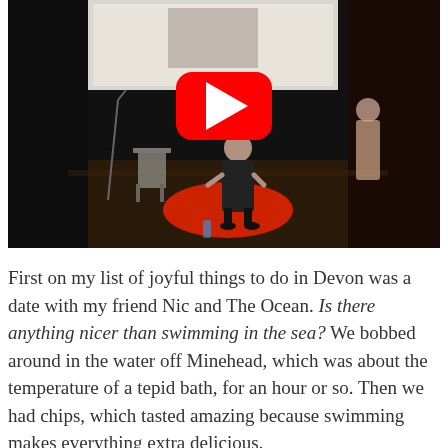[Figure (screenshot): A YouTube video thumbnail showing a woman in a black dress standing on a red circular carpet on a stage, with a presentation screen behind her and another person visible in the background. A red YouTube play button overlay is centered on the image.]
First on my list of joyful things to do in Devon was a date with my friend Nic and The Ocean. Is there anything nicer than swimming in the sea? We bobbed around in the water off Minehead, which was about the temperature of a tepid bath, for an hour or so. Then we had chips, which tasted amazing because swimming makes everything extra delicious.